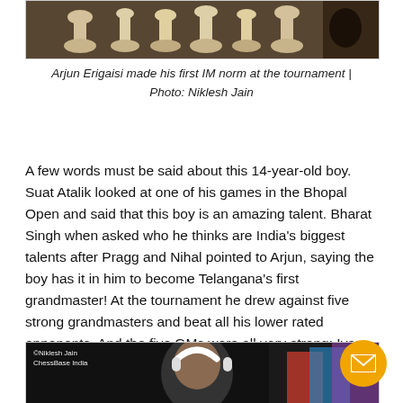[Figure (photo): Top portion of a photo showing chess pieces on a table]
Arjun Erigaisi made his first IM norm at the tournament | Photo: Niklesh Jain
A few words must be said about this 14-year-old boy. Suat Atalik looked at one of his games in the Bhopal Open and said that this boy is an amazing talent. Bharat Singh when asked who he thinks are India's biggest talents after Pragg and Nihal pointed to Arjun, saying the boy has it in him to become Telangana's first grandmaster! At the tournament he drew against five strong grandmasters and beat all his lower rated opponents. And the five GMs were all very strong: Ivan Rozum, Suat Atalik, Swapnil Dhopade, Andrei Deviatkin and Dibyendu Barua.
[Figure (photo): Bottom photo showing a person with white headphones, with colorful clothing visible, watermarked with Niklesh Jain ChessBase India]